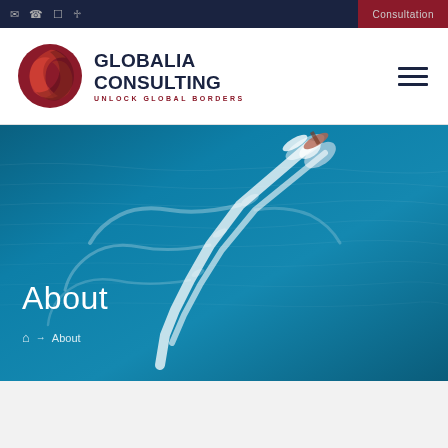Consultation
[Figure (logo): Globalia Consulting logo with red swirl globe icon, navy text reading GLOBALIA CONSULTING, red tagline UNLOCK GLOBAL BORDERS]
[Figure (photo): Aerial view of a boat on deep blue ocean water, leaving a white wake trail, viewed from above. Hero banner for About page.]
About
Home → About